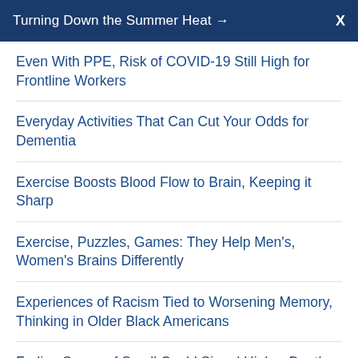Turning Down the Summer Heat → X
Even With PPE, Risk of COVID-19 Still High for Frontline Workers
Everyday Activities That Can Cut Your Odds for Dementia
Exercise Boosts Blood Flow to Brain, Keeping it Sharp
Exercise, Puzzles, Games: They Help Men's, Women's Brains Differently
Experiences of Racism Tied to Worsening Memory, Thinking in Older Black Americans
Fading Sense of Smell Could Signal Higher Death Risk in Older Adults
Failing Kidneys Could Bring Higher Dementia Risk
Fall Risk Rises Even in Alzheimer's Early Stages
FDA Defends Approval of Controversial Alzheimer's